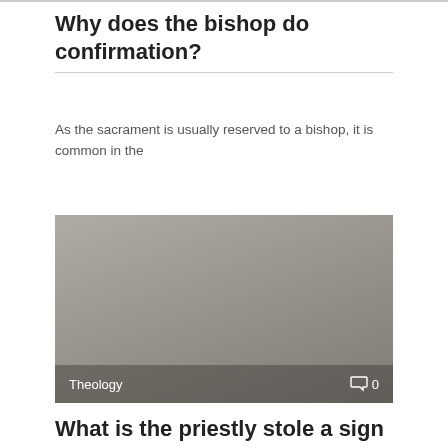Why does the bishop do confirmation?
As the sacrament is usually reserved to a bishop, it is common in the
[Figure (photo): Gray placeholder image with 'Theology' label and comment count overlay showing 0 comments]
What is the priestly stole a sign of?
In Protestant churches, the stole is most often seen as the symbol of ordination
[Figure (photo): Gray placeholder image partially visible at bottom of page]